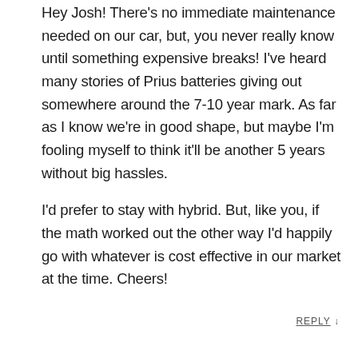Hey Josh! There's no immediate maintenance needed on our car, but, you never really know until something expensive breaks! I've heard many stories of Prius batteries giving out somewhere around the 7-10 year mark. As far as I know we're in good shape, but maybe I'm fooling myself to think it'll be another 5 years without big hassles.

I'd prefer to stay with hybrid. But, like you, if the math worked out the other way I'd happily go with whatever is cost effective in our market at the time. Cheers!
REPLY ↓